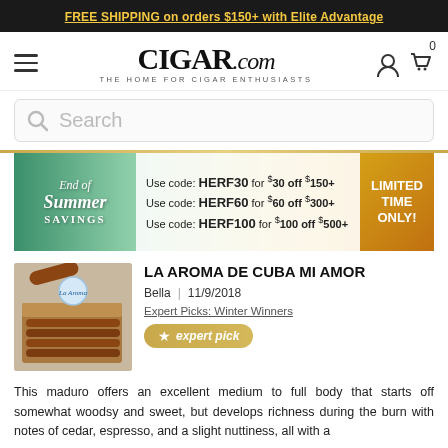FREE SHIPPING on orders $150+ with Elite Advantage
[Figure (logo): CIGAR.com logo with tagline THE HOME FOR CIGAR ENTHUSIASTS, hamburger menu, user icon, and cart icon with 0 count]
Search
[Figure (infographic): End of Summer Savings promo banner. Use code: HERF30 for $30 off $150+. Use code: HERF60 for $60 off $300+. Use code: HERF100 for $100 off $500+. LIMITED TIME ONLY!]
LA AROMA DE CUBA MI AMOR
Bella  |  11/9/2018
Expert Picks: Winter Winners
expert pick
This maduro offers an excellent medium to full body that starts off somewhat woodsy and sweet, but develops richness during the burn with notes of cedar, espresso, and a slight nuttiness, all with a